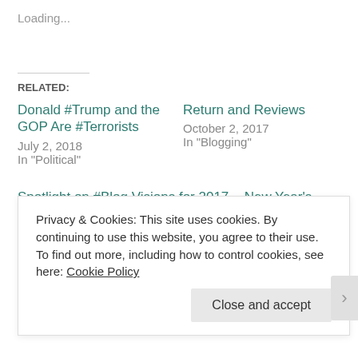Loading...
RELATED:
Donald #Trump and the GOP Are #Terrorists
July 2, 2018
In "Political"
Return and Reviews
October 2, 2017
In "Blogging"
Spotlight on #Blog Visions for 2017 ~ New Year's Delight
December 31, 2016
In "Author"
Privacy & Cookies: This site uses cookies. By continuing to use this website, you agree to their use.
To find out more, including how to control cookies, see here: Cookie Policy
Close and accept